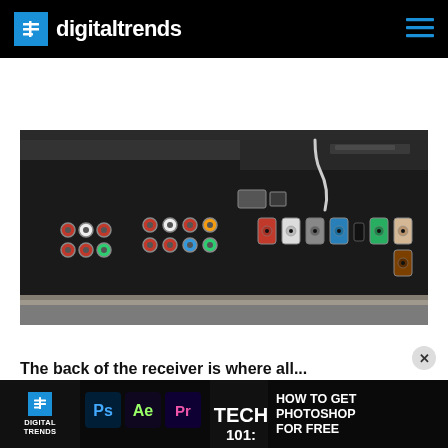digitaltrends
[Figure (photo): Back panel of an AV receiver showing multiple colored RCA connectors, speaker binding posts, and other audio/video connections]
The back of the receiver is where all...
[Figure (advertisement): Digital Trends advertisement banner: TECH 101: HOW TO GET PHOTOSHOP FOR FREE, showing Adobe Photoshop and After Effects icons]